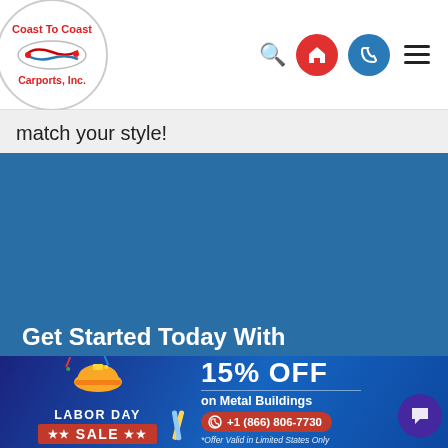[Figure (logo): Coast To Coast Carports, Inc. logo with circular border and US map graphic]
match your style!
Get Started Today With Your Free Quote...
Name
Email Address
[Figure (infographic): Labor Day Sale banner: 15% OFF on Metal Buildings, phone number +1 (866) 806-7730, offer valid in Limited States Only]